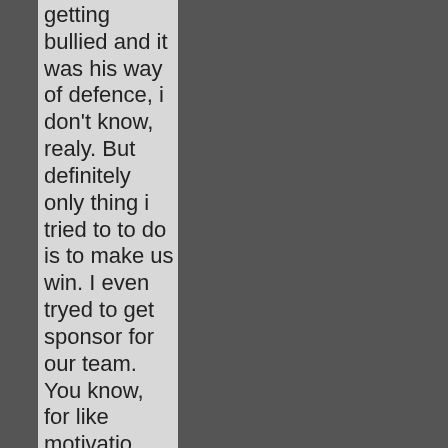getting bullied and it was his way of defence, i don't know, realy. But definitely only thing i tried to to do is to make us win. I even tryed to get sponsor for our team. You know, for like motivatio Motivate